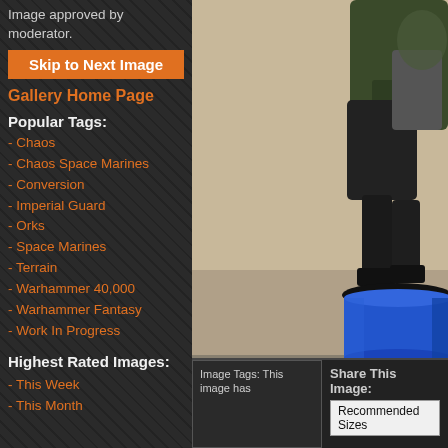Image approved by moderator.
Skip to Next Image
Gallery Home Page
Popular Tags:
- Chaos
- Chaos Space Marines
- Conversion
- Imperial Guard
- Orks
- Space Marines
- Terrain
- Warhammer 40,000
- Warhammer Fantasy
- Work In Progress
Highest Rated Images:
- This Week
- This Month
[Figure (photo): A painted Warhammer 40,000 miniature figure (green and black armor) standing on a blue cylindrical base, photographed against a beige/tan background. Only the lower portion and legs are visible.]
Image Tags: This image has
Share This Image:
Recommended Sizes